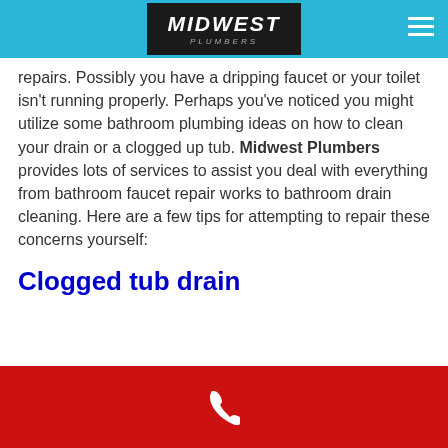MIDWEST PLUMBERS
repairs. Possibly you have a dripping faucet or your toilet isn't running properly. Perhaps you've noticed you might utilize some bathroom plumbing ideas on how to clean your drain or a clogged up tub. Midwest Plumbers provides lots of services to assist you deal with everything from bathroom faucet repair works to bathroom drain cleaning. Here are a few tips for attempting to repair these concerns yourself:
Clogged tub drain
[Figure (photo): Photo of a bathroom tub drain area showing tiled walls and drain]
Tub drains do not just have soap and water going
Phone contact bar with phone icon